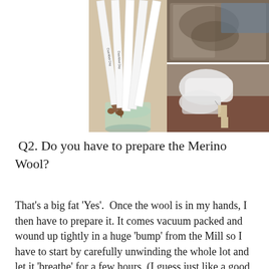[Figure (photo): Two-panel photo collage. Left panel shows tall white pencils/markers with brown tips in a glass container. Right panel shows two photos: top shows materials in plastic bag, bottom shows white gloved hands handling fabric or wool.]
Q2. Do you have to prepare the Merino Wool?
That's a big fat 'Yes'.  Once the wool is in my hands, I then have to prepare it. It comes vacuum packed and wound up tightly in a huge 'bump' from the Mill so I have to start by carefully unwinding the whole lot and let it 'breathe' for a few hours, (I guess just like a good bottle of red wine)